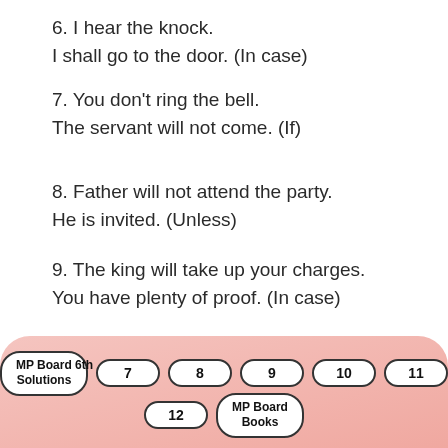6. I hear the knock.
I shall go to the door. (In case)
7. You don't ring the bell.
The servant will not come. (If)
8. Father will not attend the party.
He is invited. (Unless)
9. The king will take up your charges.
You have plenty of proof. (In case)
10. They will stay here.
You make nice arrangements. (Provided)
(B) Rewrite using 'Unless' in place of 'if :
MP Board 6th Solutions  7  8  9  10  11  12  MP Board Books